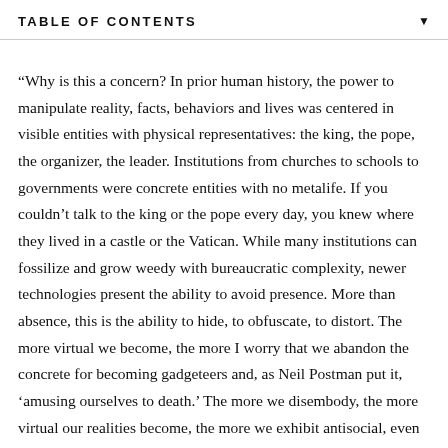TABLE OF CONTENTS
“Why is this a concern? In prior human history, the power to manipulate reality, facts, behaviors and lives was centered in visible entities with physical representatives: the king, the pope, the organizer, the leader. Institutions from churches to schools to governments were concrete entities with no metalife. If you couldn’t talk to the king or the pope every day, you knew where they lived in a castle or the Vatican. While many institutions can fossilize and grow weedy with bureaucratic complexity, newer technologies present the ability to avoid presence. More than absence, this is the ability to hide, to obfuscate, to distort. The more virtual we become, the more I worry that we abandon the concrete for becoming gadgeteers and, as Neil Postman put it, ‘amusing ourselves to death.’ The more we disembody, the more virtual our realities become, the more we exhibit antisocial, even